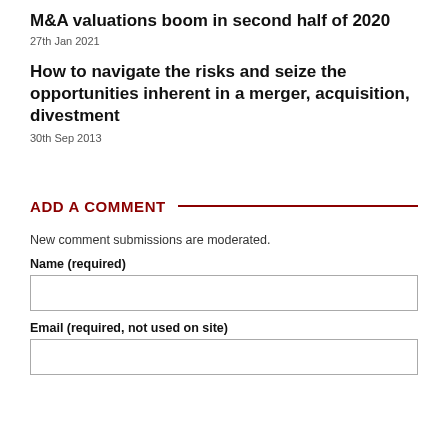M&A valuations boom in second half of 2020
27th Jan 2021
How to navigate the risks and seize the opportunities inherent in a merger, acquisition, divestment
30th Sep 2013
ADD A COMMENT
New comment submissions are moderated.
Name (required)
Email (required, not used on site)